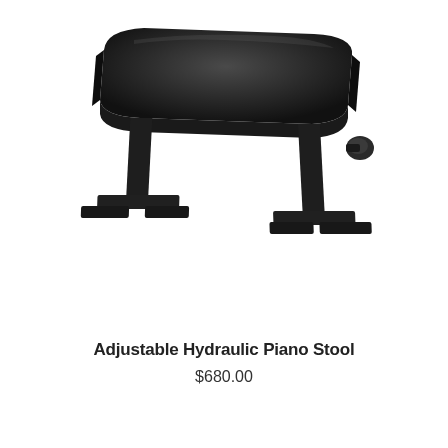[Figure (photo): A black adjustable hydraulic piano stool/bench with a padded rectangular seat and T-shaped metal legs, with a knob on the right side for height adjustment.]
Adjustable Hydraulic Piano Stool
$680.00